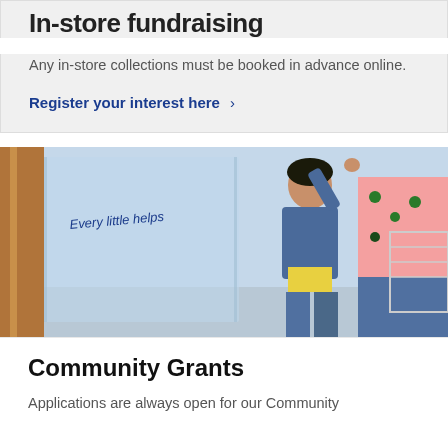In-store fundraising
Any in-store collections must be booked in advance online.
Register your interest here >
[Figure (photo): A young girl in a yellow top and denim jacket reaching up to put something into a charity collection box in a store, with an adult standing behind her. Text on the box reads 'Every little helps'.]
Community Grants
Applications are always open for our Community